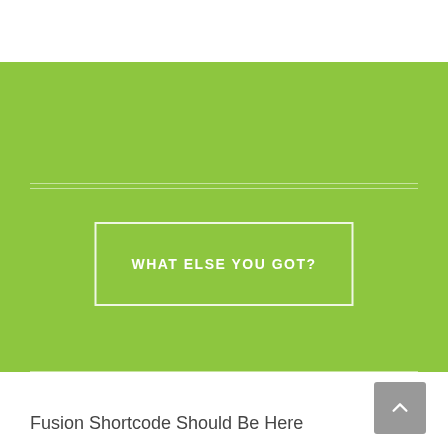[Figure (other): Green call-to-action banner with two thin horizontal white rules above and below a centered bordered button]
WHAT ELSE YOU GOT?
Fusion Shortcode Should Be Here